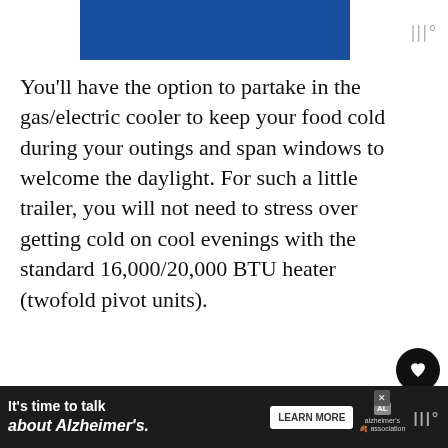[Figure (other): Blue header bar image at the top of a mobile article page]
You'll have the option to partake in the gas/electric cooler to keep your food cold during your outings and span windows to welcome the daylight. For such a little trailer, you will not need to stress over getting cold on cool evenings with the standard 16,000/20,000 BTU heater (twofold pivot units).
There are numerous other astounding c...
[Figure (other): Advertisement banner: It's time to talk about Alzheimer's. Learn More button with Alzheimer's Association logo.]